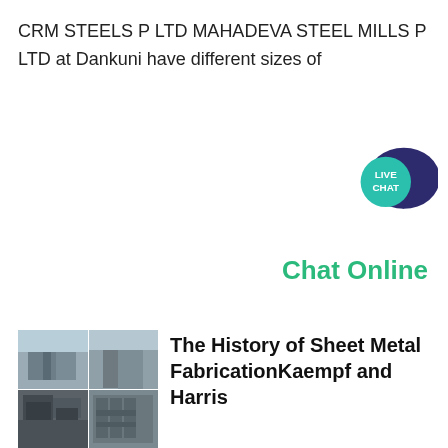CRM STEELS P LTD MAHADEVA STEEL MILLS P LTD at Dankuni have different sizes of
[Figure (other): Live Chat button with speech bubble icon, teal and dark navy colors]
Chat Online
[Figure (photo): Collage of industrial/steel mill facility photos]
The History of Sheet Metal FabricationKaempf and Harris
Sheet metal fabrication can be traced back to Eygptian jewelry using natural metals and prehistoric techniques From modern means to project completion to the tools of the trade here s our practically comprehensive timeline of the history of sheet metal fabrication Around 1401 People stop using primordial